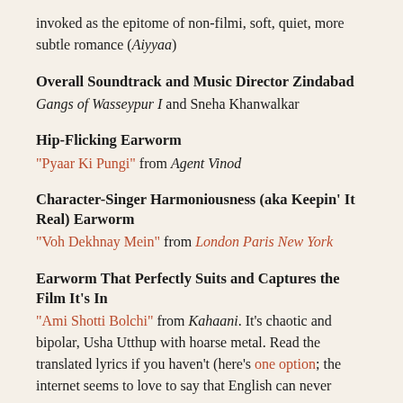invoked as the epitome of non-filmi, soft, quiet, more subtle romance (Aiyyaa)
Overall Soundtrack and Music Director Zindabad
Gangs of Wasseypur I and Sneha Khanwalkar
Hip-Flicking Earworm
"Pyaar Ki Pungi" from Agent Vinod
Character-Singer Harmoniousness (aka Keepin' It Real) Earworm
"Voh Dekhnay Mein" from London Paris New York
Earworm That Perfectly Suits and Captures the Film It's In
"Ami Shotti Bolchi" from Kahaani. It's chaotic and bipolar, Usha Utthup with hoarse metal. Read the translated lyrics if you haven't (here's one option; the internet seems to love to say that English can never express